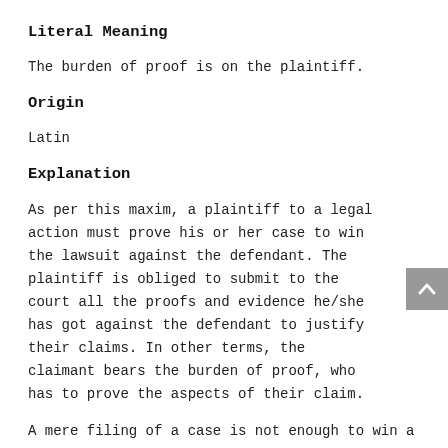Literal Meaning
The burden of proof is on the plaintiff.
Origin
Latin
Explanation
As per this maxim, a plaintiff to a legal action must prove his or her case to win the lawsuit against the defendant. The plaintiff is obliged to submit to the court all the proofs and evidence he/she has got against the defendant to justify their claims. In other terms, the claimant bears the burden of proof, who has to prove the aspects of their claim.
A mere filing of a case is not enough to win a case, but also